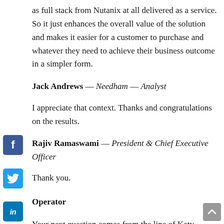as full stack from Nutanix at all delivered as a service. So it just enhances the overall value of the solution and makes it easier for a customer to purchase and whatever they need to achieve their business outcome in a simpler form.
Jack Andrews — Needham — Analyst
I appreciate that context. Thanks and congratulations on the results.
Rajiv Ramaswami — President & Chief Executive Officer
Thank you.
Operator
Your next question comes from the line of Katy Huberty with Morgan Stanley.